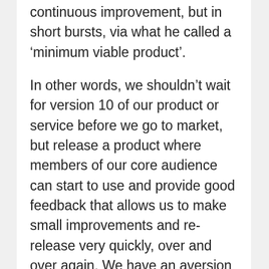continuous improvement, but in short bursts, via what he called a 'minimum viable product'.
In other words, we shouldn't wait for version 10 of our product or service before we go to market, but release a product where members of our core audience can start to use and provide good feedback that allows us to make small improvements and re-release very quickly, over and over again. We have an aversion to taking risks for fear of how the market may react, but the best technology companies have perfected their business by being in permanent beta mode, always looking for change and improvement. It is the way forward. We have